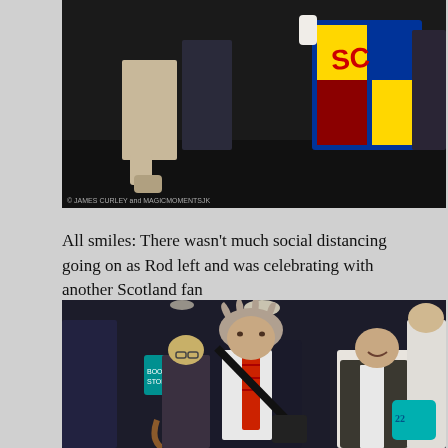[Figure (photo): Nighttime photo showing people celebrating, with a Scotland flag visible on the right side. Dark background, figures in light and dark clothing.]
All smiles: There wasn't much social distancing going on as Rod left and was celebrating with another Scotland fan
[Figure (photo): Indoor photo of an older man with spiky gray hair wearing a dark jacket, red striped tie, and carrying a shoulder bag, walking with a group of people. A teal/turquoise item is visible on the right.]